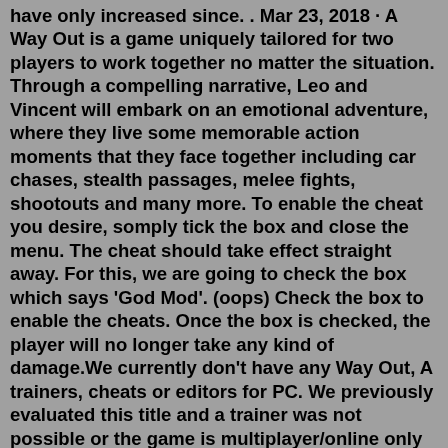have only increased since. . Mar 23, 2018 · A Way Out is a game uniquely tailored for two players to work together no matter the situation. Through a compelling narrative, Leo and Vincent will embark on an emotional adventure, where they live some memorable action moments that they face together including car chases, stealth passages, melee fights, shootouts and many more. To enable the cheat you desire, somply tick the box and close the menu. The cheat should take effect straight away. For this, we are going to check the box which says 'God Mod'. (oops) Check the box to enable the cheats. Once the box is checked, the player will no longer take any kind of damage.We currently don't have any Way Out, A trainers, cheats or editors for PC. We previously evaluated this title and a trainer was not possible or the game is multiplayer/online only so it has been marked as RETIRED. If the state of the game changes where we are able to create a trainer it will be listed on our requests page.Simpsons Tapped Out Generator Online v.5.6 which allows you to type